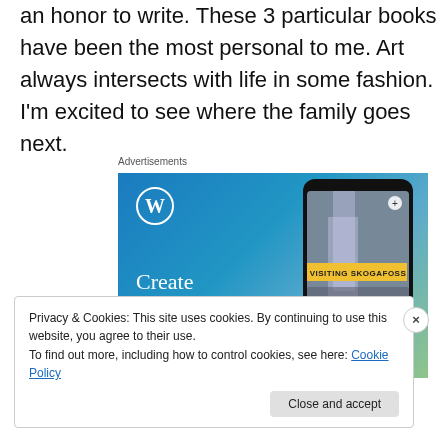an honor to write. These 3 particular books have been the most personal to me. Art always intersects with life in some fashion. I'm excited to see where the family goes next.
[Figure (illustration): WordPress advertisement banner with blue gradient background, WordPress logo (W in circle), text 'Create immersive stories.' on left, and a smartphone mockup showing a waterfall photo with 'VISITING SKOGAFOSS' label on right.]
Privacy & Cookies: This site uses cookies. By continuing to use this website, you agree to their use.
To find out more, including how to control cookies, see here: Cookie Policy